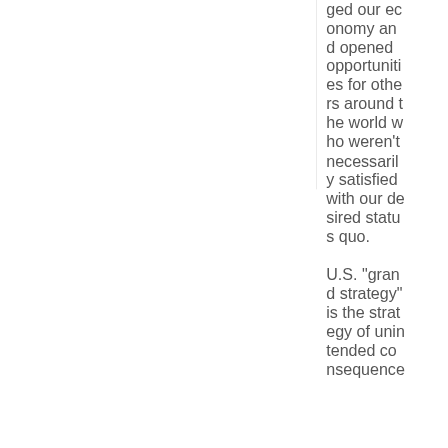ged our economy and opened opportunities for others around the world who weren't necessarily satisfied with our desired status quo.

U.S. "grand strategy" is the strategy of unintended consequence